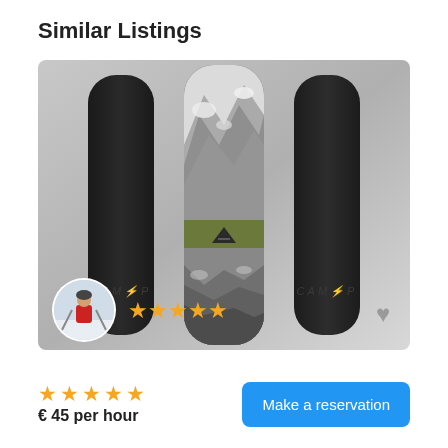Similar Listings
[Figure (photo): Three snowboards displayed vertically. Left and right boards are solid black with 'CAMP' text near the bottom. Center board has a mountain landscape graphic with a green brand band in the middle. Overlaid in the lower-left corner is a circular avatar photo of a person in a red jacket holding ski poles in a snowy landscape. Five gold stars appear next to the avatar. A grey heart icon appears in the lower-right corner of the image.]
★★★★★
€ 45 per hour
Make a reservation